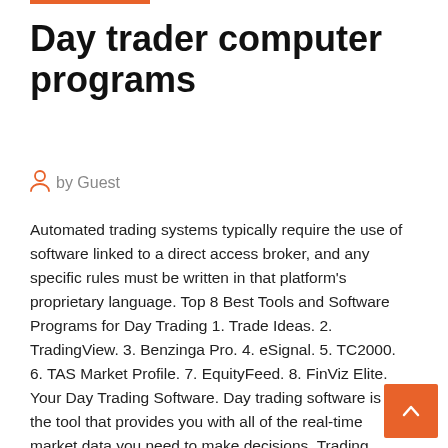Day trader computer programs
by Guest
Automated trading systems typically require the use of software linked to a direct access broker, and any specific rules must be written in that platform's proprietary language. Top 8 Best Tools and Software Programs for Day Trading 1. Trade Ideas. 2. TradingView. 3. Benzinga Pro. 4. eSignal. 5. TC2000. 6. TAS Market Profile. 7. EquityFeed. 8. FinViz Elite. Your Day Trading Software. Day trading software is the tool that provides you with all of the real-time market data you need to make decisions. Trading platforms include stock charts, level 2 screens, market scanners, news, and more. This is by far the most powerful resource you will use as a day trader. Market Timer is a end-of-day search and sort trading decision software for swing It is designed to help an options trader adopt strategies that they can stick to. More Options resources...